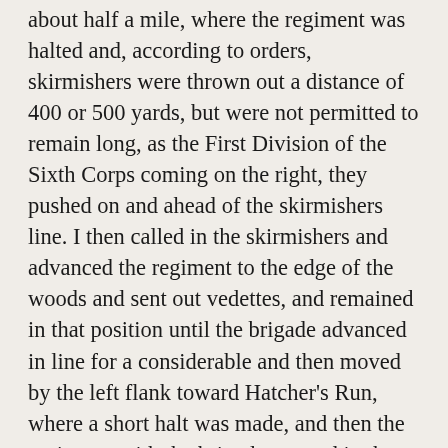about half a mile, where the regiment was halted and, according to orders, skirmishers were thrown out a distance of 400 or 500 yards, but were not permitted to remain long, as the First Division of the Sixth Corps coming on the right, they pushed on and ahead of the skirmishers line. I then called in the skirmishers and advanced the regiment to the edge of the woods and sent out vedettes, and remained in that position until the brigade advanced in line for a considerable and then moved by the left flank toward Hatcher's Run, where a short halt was made, and then the regiment, with the brigade, moved in the direction of Petersburg, and were for awhile considerably annoyed by the enemy's batteries; but I am happy to state that no loss was sustained in the regiment until the attack was made upon the batteries near the white house, where they received about as heavy a fire as ever the regiment was under from artillery